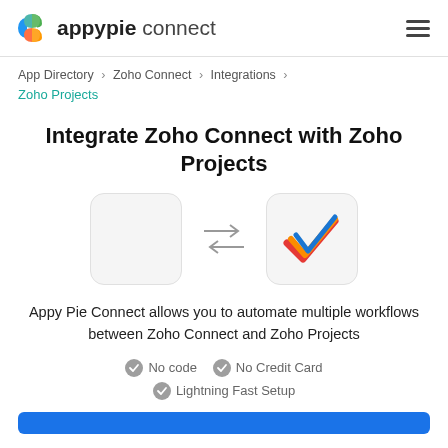appypie connect
App Directory > Zoho Connect > Integrations > Zoho Projects
Integrate Zoho Connect with Zoho Projects
[Figure (infographic): Two app icon boxes connected by bidirectional arrows. Left box is empty (Zoho Connect placeholder), right box shows a colorful checkmark (Zoho Projects logo).]
Appy Pie Connect allows you to automate multiple workflows between Zoho Connect and Zoho Projects
No code   No Credit Card   Lightning Fast Setup